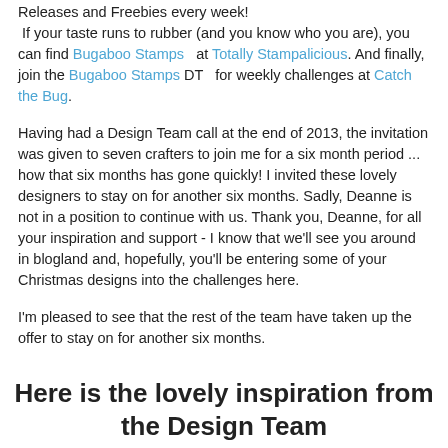Releases and Freebies every week! If your taste runs to rubber (and you know who you are), you can find Bugaboo Stamps at Totally Stampalicious. And finally, join the Bugaboo Stamps DT for weekly challenges at Catch the Bug.
Having had a Design Team call at the end of 2013, the invitation was given to seven crafters to join me for a six month period ... how that six months has gone quickly! I invited these lovely designers to stay on for another six months. Sadly, Deanne is not in a position to continue with us. Thank you, Deanne, for all your inspiration and support - I know that we'll see you around in blogland and, hopefully, you'll be entering some of your Christmas designs into the challenges here.
I'm pleased to see that the rest of the team have taken up the offer to stay on for another six months.
Here is the lovely inspiration from the Design Team